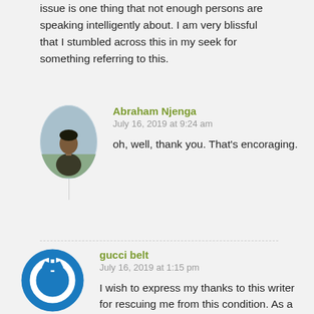issue is one thing that not enough persons are speaking intelligently about. I am very blissful that I stumbled across this in my seek for something referring to this.
Abraham Njenga
July 16, 2019 at 9:24 am

oh, well, thank you. That's encoraging.
gucci belt
July 16, 2019 at 1:15 pm

I wish to express my thanks to this writer for rescuing me from this condition. As a result of exploring through the internet and coming across